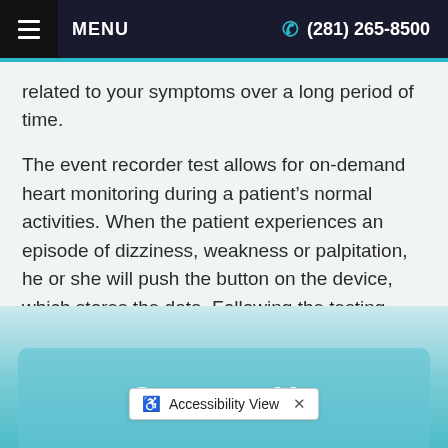MENU  (281) 265-8500
related to your symptoms over a long period of time.
The event recorder test allows for on-demand heart monitoring during a patient’s normal activities. When the patient experiences an episode of dizziness, weakness or palpitation, he or she will push the button on the device, which stores the data. Following the testing period, the monitor is returned to your physician to record data.
Contact Us